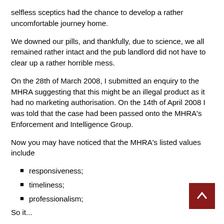selfless sceptics had the chance to develop a rather uncomfortable journey home.
We downed our pills, and thankfully, due to science, we all remained rather intact and the pub landlord did not have to clear up a rather horrible mess.
On the 28th of March 2008, I submitted an enquiry to the MHRA suggesting that this might be an illegal product as it had no marketing authorisation. On the 14th of April 2008 I was told that the case had been passed onto the MHRA's Enforcement and Intelligence Group.
Now you may have noticed that the MHRA's listed values include
responsiveness;
timeliness;
professionalism;
So it...